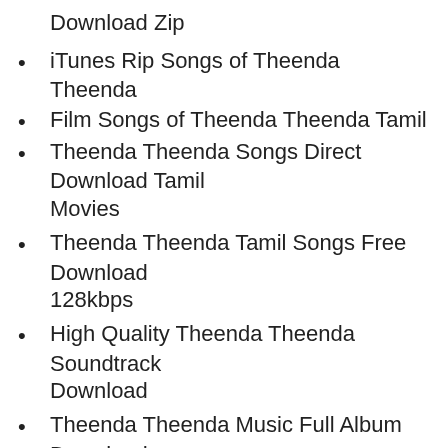Download Zip
iTunes Rip Songs of Theenda Theenda
Film Songs of Theenda Theenda Tamil
Theenda Theenda Songs Direct Download Tamil Movies
Theenda Theenda Tamil Songs Free Download 128kbps
High Quality Theenda Theenda Soundtrack Download
Theenda Theenda Music Full Album Download 320kbps
Theenda Theenda Audio Cd Rips Download
Theenda Theenda Mp3 Song Available Feel Free To Download
Mp3 Songs Download Zip Fine of Theenda Theenda